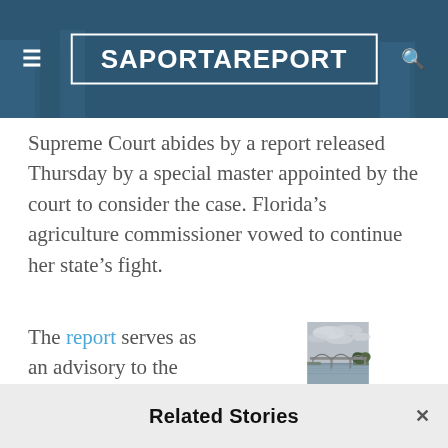SaportaReport
Supreme Court abides by a report released Thursday by a special master appointed by the court to consider the case. Florida’s agriculture commissioner vowed to continue her state’s fight.
The report serves as an advisory to the Supreme
[Figure (photo): A bridge over a river on a cloudy day, with trees visible on the right side.]
Related Stories